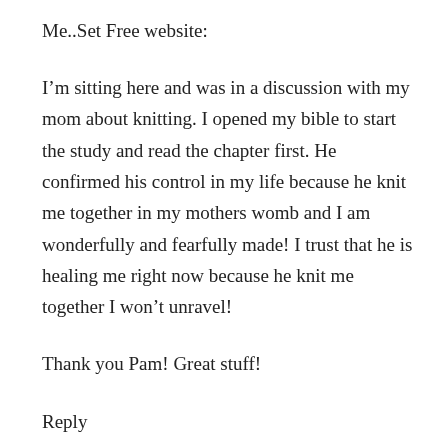Me..Set Free website:
I’m sitting here and was in a discussion with my mom about knitting. I opened my bible to start the study and read the chapter first. He confirmed his control in my life because he knit me together in my mothers womb and I am wonderfully and fearfully made! I trust that he is healing me right now because he knit me together I won’t unravel!
Thank you Pam! Great stuff!
Reply